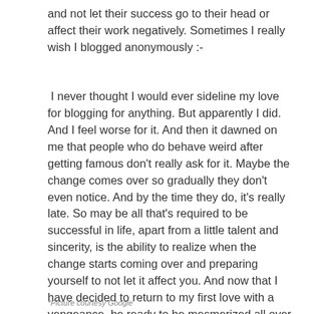and not let their success go to their head or affect their work negatively. Sometimes I really wish I blogged anonymously :-
I never thought I would ever sideline my love for blogging for anything. But apparently I did. And I feel worse for it. And then it dawned on me that people who do behave weird after getting famous don't really ask for it. Maybe the change comes over so gradually they don't even notice. And by the time they do, it's really late. So may be all that's required to be successful in life, apart from a little talent and sincerity, is the ability to realize when the change starts coming over and preparing yourself to not let it affect you. And now that I have decided to return to my first love with a vengeance, be ready to be mesmerized all over again! 🙂 And some days later, if you do find an anonymous blogger who sounds like me, humor me ;-))
*Picture courtesy Google